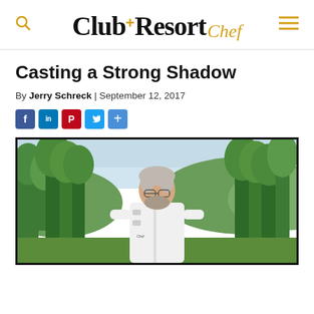Club+Resort Chef
Casting a Strong Shadow
By Jerry Schreck | September 12, 2017
[Figure (other): Social media share buttons: Facebook, LinkedIn, Pinterest, Twitter, Share]
[Figure (photo): Chef in white coat standing outdoors with green trees and hills in background]